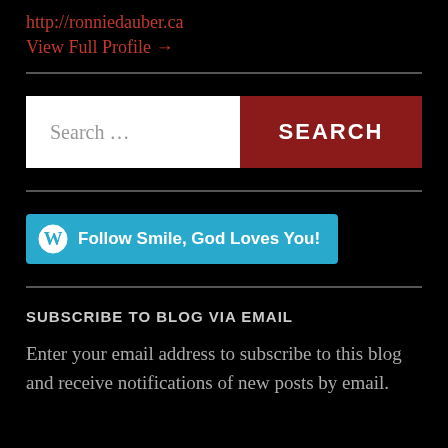http://ronniedauber.ca
View Full Profile →
Search …
Follow Smile, God Loves You!
SUBSCRIBE TO BLOG VIA EMAIL
Enter your email address to subscribe to this blog and receive notifications of new posts by email.